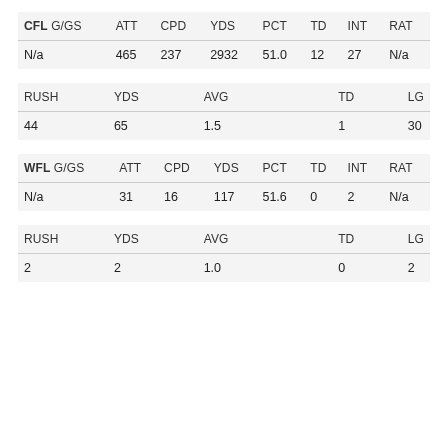| CFL G/GS | ATT | CPD | YDS | PCT | TD | INT | RAT |
| --- | --- | --- | --- | --- | --- | --- | --- |
| N/a | 465 | 237 | 2932 | 51.0 | 12 | 27 | N/a |
| RUSH | YDS | AVG |  | TD |  | LG |  |
| --- | --- | --- | --- | --- | --- | --- | --- |
| 44 | 65 | 1.5 |  | 1 |  | 30 |  |
| WFL G/GS | ATT | CPD | YDS | PCT | TD | INT | RAT |
| --- | --- | --- | --- | --- | --- | --- | --- |
| N/a | 31 | 16 | 117 | 51.6 | 0 | 2 | N/a |
| RUSH | YDS | AVG |  | TD |  | LG |  |
| --- | --- | --- | --- | --- | --- | --- | --- |
| 2 | 2 | 1.0 |  | 0 |  | 2 |  |